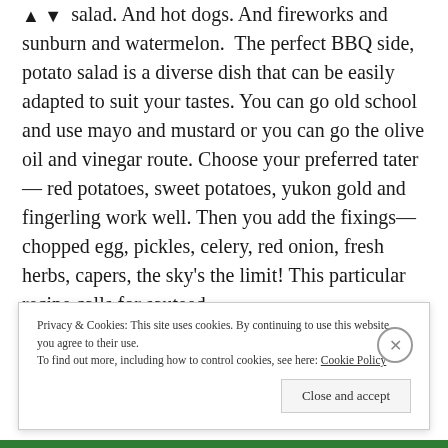salad. And hot dogs. And fireworks and sunburn and watermelon. The perfect BBQ side, potato salad is a diverse dish that can be easily adapted to suit your tastes. You can go old school and use mayo and mustard or you can go the olive oil and vinegar route. Choose your preferred tater— red potatoes, sweet potatoes, yukon gold and fingerling work well. Then you add the fixings— chopped egg, pickles, celery, red onion, fresh herbs, capers, the sky's the limit! This particular recipe calls for sauteed
Privacy & Cookies: This site uses cookies. By continuing to use this website, you agree to their use.
To find out more, including how to control cookies, see here: Cookie Policy
Close and accept